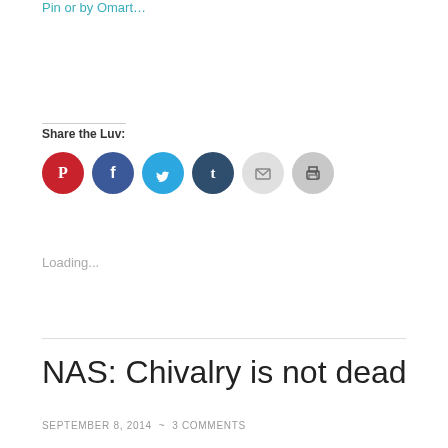Pin or by Omart…
Share the Luv:
[Figure (other): Row of six social sharing icon circles: Pinterest (red), Facebook (blue), Twitter (light blue), Tumblr (dark navy), Email (light gray), Print (gray)]
Loading...
NAS: Chivalry is not dead
SEPTEMBER 8, 2014  ~  3 COMMENTS